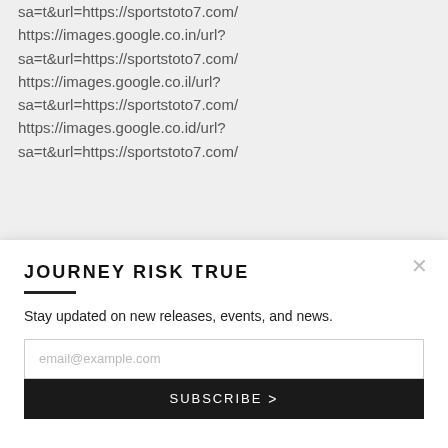sa=t&url=https://sportstoto7.com/
https://images.google.co.in/url?
sa=t&url=https://sportstoto7.com/
https://images.google.co.il/url?
sa=t&url=https://sportstoto7.com/
https://images.google.co.id/url?
sa=t&url=https://sportstoto7.com/
JOURNEY RISK TRUE
Stay updated on new releases, events, and news.
email@example.com
SUBSCRIBE >